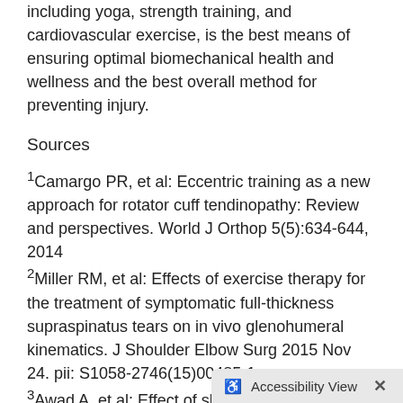including yoga, strength training, and cardiovascular exercise, is the best means of ensuring optimal biomechanical health and wellness and the best overall method for preventing injury.
Sources
1Camargo PR, et al: Eccentric training as a new approach for rotator cuff tendinopathy: Review and perspectives. World J Orthop 5(5):634-644, 2014 2Miller RM, et al: Effects of exercise therapy for the treatment of symptomatic full-thickness supraspinatus tears on in vivo glenohumeral kinematics. J Shoulder Elbow Surg 2015 Nov 24. pii: S1058-2746(15)00485-1 3Awad A, et al: Effect of shoulder girdle strengthening on trunk alignment in patients with stroke. J Phys Ther Sci 27(7):2195-2200, 2015
Accessibility View